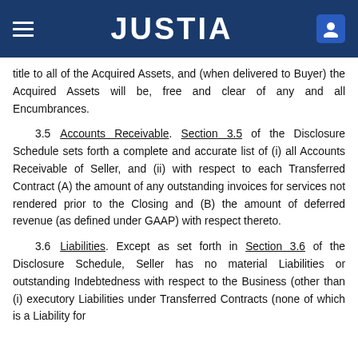JUSTIA
title to all of the Acquired Assets, and (when delivered to Buyer) the Acquired Assets will be, free and clear of any and all Encumbrances.
3.5  Accounts Receivable. Section 3.5 of the Disclosure Schedule sets forth a complete and accurate list of (i) all Accounts Receivable of Seller, and (ii) with respect to each Transferred Contract (A) the amount of any outstanding invoices for services not rendered prior to the Closing and (B) the amount of deferred revenue (as defined under GAAP) with respect thereto.
3.6  Liabilities. Except as set forth in Section 3.6 of the Disclosure Schedule, Seller has no material Liabilities or outstanding Indebtedness with respect to the Business (other than (i) executory Liabilities under Transferred Contracts (none of which is a Liability for